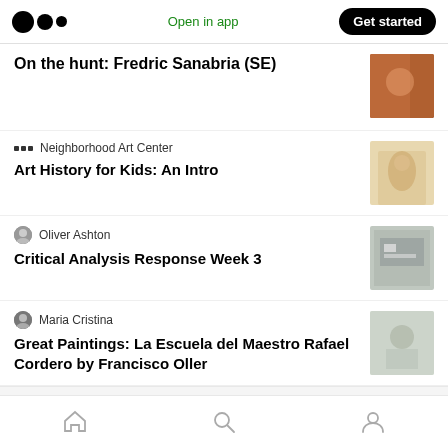Medium app header with logo, Open in app, Get started
On the hunt: Fredric Sanabria (SE)
Neighborhood Art Center
Art History for Kids: An Intro
Oliver Ashton
Critical Analysis Response Week 3
Maria Cristina
Great Paintings: La Escuela del Maestro Rafael Cordero by Francisco Oller
Bottom navigation: Home, Search, Profile